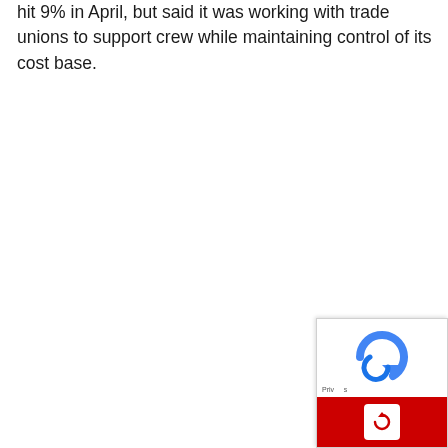hit 9% in April, but said it was working with trade unions to support crew while maintaining control of its cost base.
[Figure (other): reCAPTCHA widget in bottom-right corner with blue recycling arrow logo on white background, red bar at bottom with white refresh/arrow button, and 'Privacy' text label]